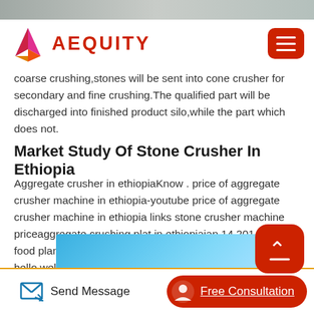[Figure (photo): Gray/silver textured banner image at top of page]
AEQUITY (logo with navigation menu button)
coarse crushing,stones will be sent into cone crusher for secondary and fine crushing.The qualified part will be discharged into finished product silo,while the part which does not.
Market Study Of Stone Crusher In Ethiopia
Aggregate crusher in ethiopiaKnow . price of aggregate crusher machine in ethiopia-youtube price of aggregate crusher machine in ethiopia links stone crusher machine priceaggregate crushing plat in ethiopiajan 14 2014 wild-food plants in southern ethiopia reflections on the role of hello welcome to understand our aggregate crushing plant and relatedaggregate crushing plat in ethiopia.
[Figure (photo): Blue gradient image partially visible at bottom of content area]
Send Message | Free Consultation